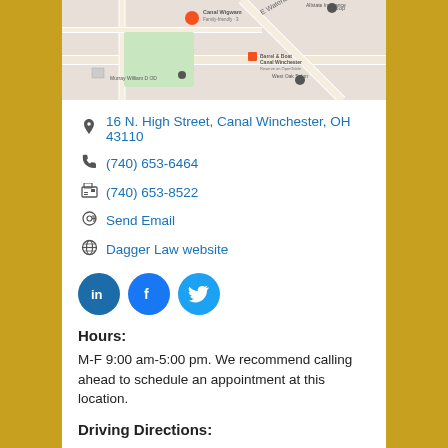[Figure (map): Google Maps screenshot showing area around 16 N. High Street, Canal Winchester, OH 43110, with local businesses labeled including Canal Wigwam, Barrel & Boat Canal Winchester, Murray William D OD, West Oak Salon, and Allstate Insurance]
16 N. High Street, Canal Winchester, OH 43110
(740) 653-6464
(740) 653-8522
Send Email
Dagger Law website
[Figure (infographic): Social media icons: LinkedIn, Facebook, Twitter]
Hours:
M-F 9:00 am-5:00 pm. We recommend calling ahead to schedule an appointment at this location.
Driving Directions: